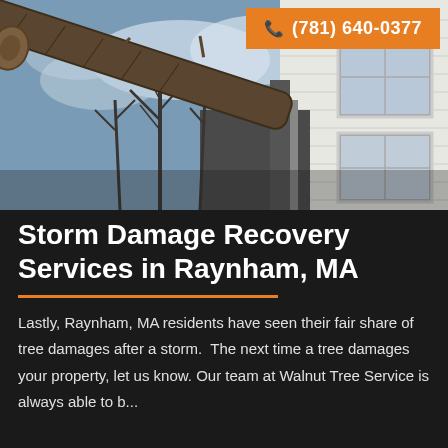[Figure (photo): A fallen tree leaning against a white clapboard house after a storm, with bare trees and cloudy sky in the background. Orange phone badge overlay in top right corner showing (781) 640-0377.]
Storm Damage Recovery Services in Raynham, MA
Lastly, Raynham, MA residents have seen their fair share of tree damages after a storm.  The next time a tree damages your property, let us know. Our team at Walnut Tree Service is always able to b...